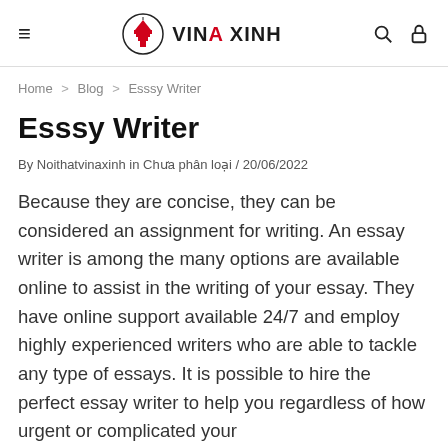≡  VINA XINH  🔍 🔒
Home > Blog > Esssy Writer
Esssy Writer
By Noithatvinaxinh in Chưa phân loại / 20/06/2022
Because they are concise, they can be considered an assignment for writing. An essay writer is among the many options are available online to assist in the writing of your essay. They have online support available 24/7 and employ highly experienced writers who are able to tackle any type of essays. It is possible to hire the perfect essay writer to help you regardless of how urgent or complicated your